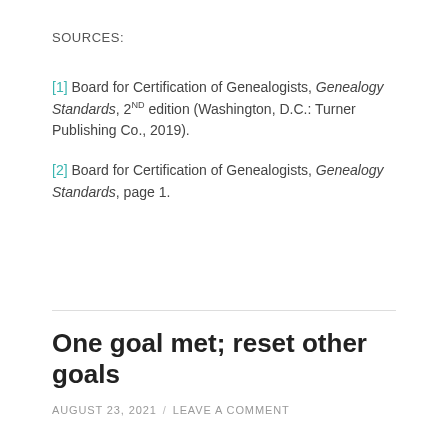SOURCES:
[1] Board for Certification of Genealogists, Genealogy Standards, 2ND edition (Washington, D.C.: Turner Publishing Co., 2019).
[2] Board for Certification of Genealogists, Genealogy Standards, page 1.
One goal met; reset other goals
AUGUST 23, 2021 / LEAVE A COMMENT